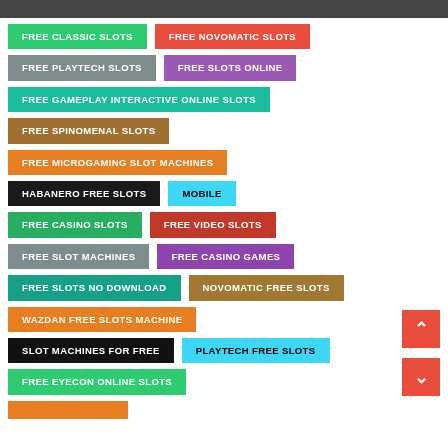FREE CLASSIC SLOTS
FREE NOVOMATIC SLOTS
FREE PLAYTECH SLOTS
FREE SLOTS ONLINE
FREE GAMEPLAY INTERACTIVE ONLINE SLOTS
FREE SPINOMENAL SLOTS
FREE MICROGAMING SLOT MACHINES
HABANERO FREE SLOTS
MOBILE
FREE CASINO SLOTS
FREE VIDEO SLOTS
FREE SLOT MACHINES
FREE CASINO GAMES
FREE SLOTS NO DOWNLOAD
NOVOMATIC FREE SLOTS
WAZDAN FREE SLOTS MACHINE
SLOT MACHINES FOR FREE
PLAYTECH FREE SLOTS
FREE EYECON ONLINE SLOTS